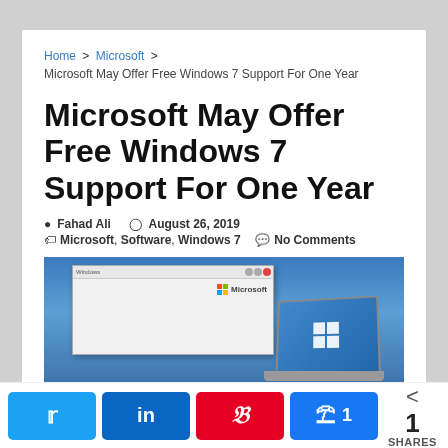Home > Microsoft > Microsoft May Offer Free Windows 7 Support For One Year
Microsoft May Offer Free Windows 7 Support For One Year
Fahad Ali  August 26, 2019  Microsoft, Software, Windows 7  No Comments
[Figure (screenshot): Screenshot of a Windows dialog box with Microsoft logo and a laptop showing Windows 7 logo on a blue background]
1 SHARES